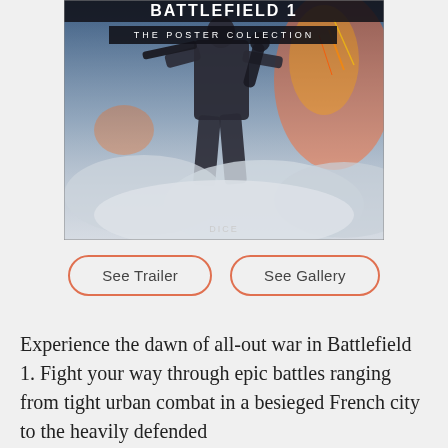[Figure (illustration): Battlefield 1: The Poster Collection book cover showing a soldier with weapons against a smoky blue-grey battlefield background. Title 'BATTLEFIELD 1' in large white letters at top, subtitle 'THE POSTER COLLECTION' on a dark banner, DICE logo at bottom center.]
See Trailer
See Gallery
Experience the dawn of all-out war in Battlefield 1. Fight your way through epic battles ranging from tight urban combat in a besieged French city to the heavily defended